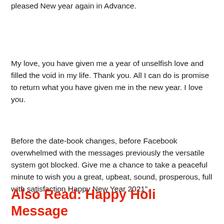pleased New year again in Advance.
My love, you have given me a year of unselfish love and filled the void in my life. Thank you. All I can do is promise to return what you have given me in the new year. I love you.
Before the date-book changes, before Facebook overwhelmed with the messages previously the versatile system got blocked. Give me a chance to take a peaceful minute to wish you a great, upbeat, sound, prosperous, full with satisfaction Happy New Year 2021”.
Also Read: Happy Holi Message